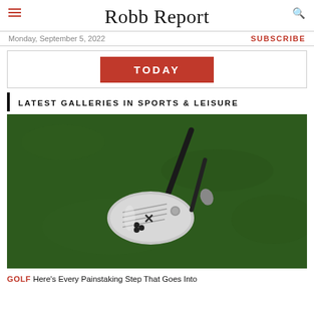Robb Report
Monday, September 5, 2022
SUBSCRIBE
[Figure (other): Red banner advertisement with text TODAY]
LATEST GALLERIES IN SPORTS & LEISURE
[Figure (photo): Close-up photograph of a silver PXG golf club wedge resting on green grass]
GOLF Here’s Every Painstaking Step That Goes Into